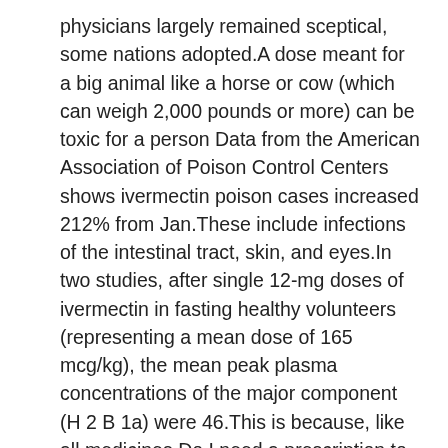physicians largely remained sceptical, some nations adopted.A dose meant for a big animal like a horse or cow (which can weigh 2,000 pounds or more) can be toxic for a person Data from the American Association of Poison Control Centers shows ivermectin poison cases increased 212% from Jan.These include infections of the intestinal tract, skin, and eyes.In two studies, after single 12-mg doses of ivermectin in fasting healthy volunteers (representing a mean dose of 165 mcg/kg), the mean peak plasma concentrations of the major component (H 2 B 1a) were 46.This is because, like all medicines.Do I need a prescription to purchase ivermectin.It's gotten so silly that a new term has been invented – "Pfizermectin," implying that Pfizer's Paxlovid is little more than an expensive, big-pharma ripoff